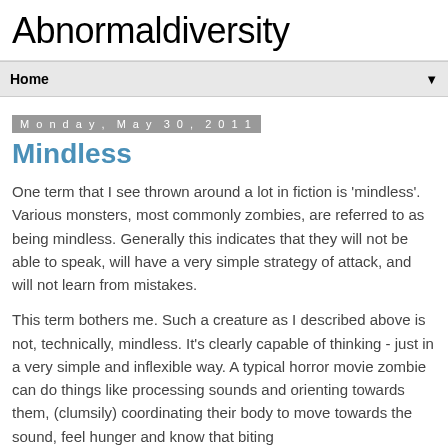Abnormaldiversity
Home
Monday, May 30, 2011
Mindless
One term that I see thrown around a lot in fiction is 'mindless'. Various monsters, most commonly zombies, are referred to as being mindless. Generally this indicates that they will not be able to speak, will have a very simple strategy of attack, and will not learn from mistakes.
This term bothers me. Such a creature as I described above is not, technically, mindless. It's clearly capable of thinking - just in a very simple and inflexible way. A typical horror movie zombie can do things like processing sounds and orienting towards them, (clumsily) coordinating their body to move towards the sound, feel hunger and know that biting...